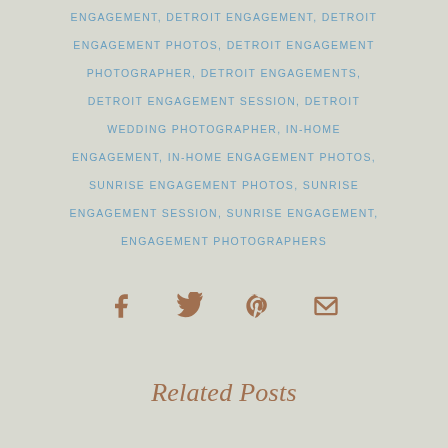ENGAGEMENT, DETROIT ENGAGEMENT, DETROIT ENGAGEMENT PHOTOS, DETROIT ENGAGEMENT PHOTOGRAPHER, DETROIT ENGAGEMENTS, DETROIT ENGAGEMENT SESSION, DETROIT WEDDING PHOTOGRAPHER, IN-HOME ENGAGEMENT, IN-HOME ENGAGEMENT PHOTOS, SUNRISE ENGAGEMENT PHOTOS, SUNRISE ENGAGEMENT SESSION, SUNRISE ENGAGEMENT, ENGAGEMENT PHOTOGRAPHERS
[Figure (infographic): Social sharing icons: Facebook, Twitter, Pinterest, Email — displayed in brownish color on a beige background]
Related Posts